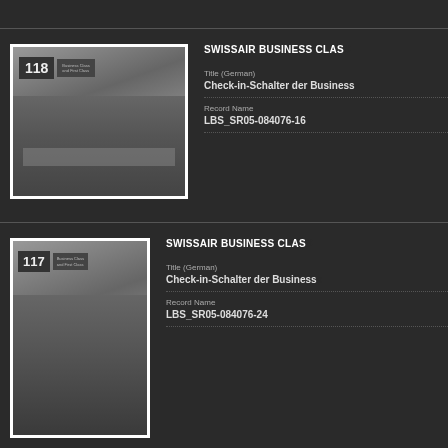[Figure (photo): Black and white photo of Swissair Business Class check-in counter number 118 with airline staff and passengers]
SWISSAIR BUSINESS CLASS...
Title (German)
Check-in-Schalter der Business...
Record Name
LBS_SR05-084076-16
[Figure (photo): Black and white photo of Swissair Business Class check-in counter number 117 with passengers from behind]
SWISSAIR BUSINESS CLASS...
Title (German)
Check-in-Schalter der Business...
Record Name
LBS_SR05-084076-24